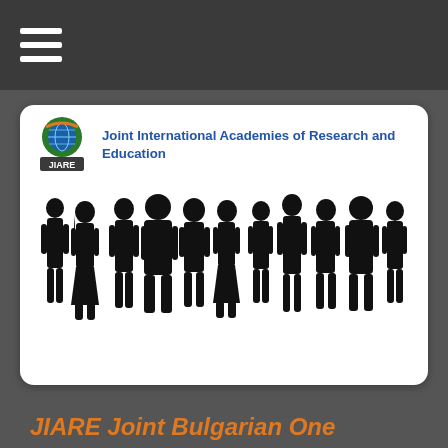[Figure (other): Hamburger menu icon (three horizontal white lines) on dark background top bar]
Joint International Academies of Research and Education
[Figure (photo): Silhouettes of a line of people standing in profile, both men and women of varying sizes, arranged in a row against a white background]
JIARE Joint Bulgarian One